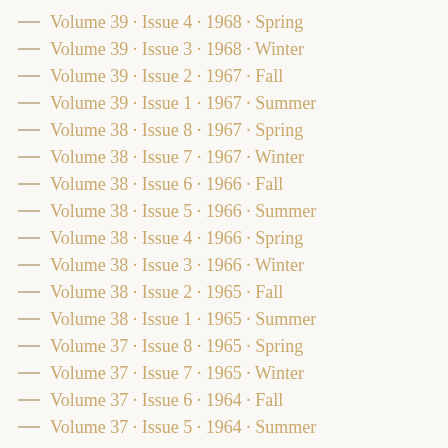Volume 39 · Issue 4 · 1968 · Spring
Volume 39 · Issue 3 · 1968 · Winter
Volume 39 · Issue 2 · 1967 · Fall
Volume 39 · Issue 1 · 1967 · Summer
Volume 38 · Issue 8 · 1967 · Spring
Volume 38 · Issue 7 · 1967 · Winter
Volume 38 · Issue 6 · 1966 · Fall
Volume 38 · Issue 5 · 1966 · Summer
Volume 38 · Issue 4 · 1966 · Spring
Volume 38 · Issue 3 · 1966 · Winter
Volume 38 · Issue 2 · 1965 · Fall
Volume 38 · Issue 1 · 1965 · Summer
Volume 37 · Issue 8 · 1965 · Spring
Volume 37 · Issue 7 · 1965 · Winter
Volume 37 · Issue 6 · 1964 · Fall
Volume 37 · Issue 5 · 1964 · Summer